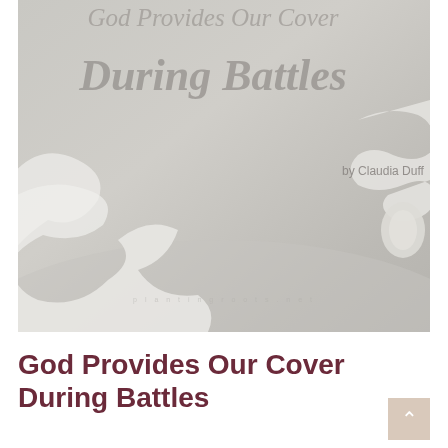[Figure (photo): Beach scene with white seafoam waves on sandy shore with a shell, muted gray-beige tones, used as background for article cover image]
During Battles
by Claudia Duff
God Provides Our Cover During Battles